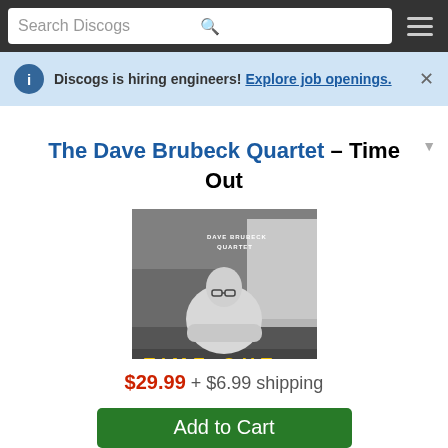Search Discogs
Discogs is hiring engineers! Explore job openings.
The Dave Brubeck Quartet – Time Out
[Figure (photo): Album cover of 'Time Out' by Dave Brubeck Quartet — black and white photo of Dave Brubeck leaning on a piano, with 'DAVE BRUBECK QUARTET' in white text and 'TIME OUT' in yellow letters at the bottom.]
$29.99 + $6.99 shipping
Add to Cart